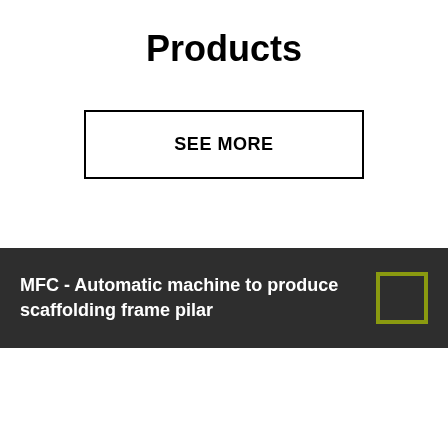Products
SEE MORE
MFC - Automatic machine to produce scaffolding frame pilar